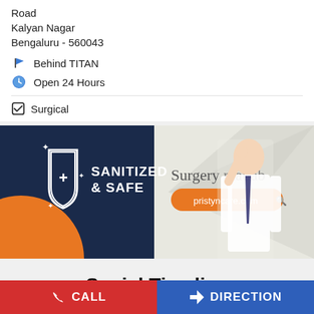Road
Kalyan Nagar
Bengaluru - 560043
Behind TITAN
Open 24 Hours
Surgical
[Figure (photo): Pristyn Care advertisement banner showing a doctor in white coat with text 'SANITIZED & SAFE', 'Surgery matlab', and 'pristyncare.com' on a dark blue and orange background.]
Social Timeline
Post to Timeline
CALL
DIRECTION